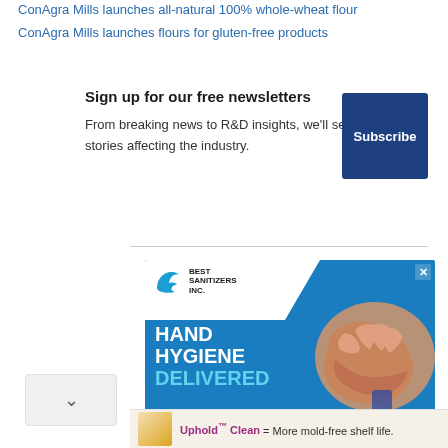ConAgra Mills launches all-natural 100% whole-wheat flour
ConAgra Mills launches flours for gluten-free products
Sign up for our free newsletters
From breaking news to R&D insights, we'll send you the top stories affecting the industry.
[Figure (screenshot): Blue Subscribe button]
[Figure (photo): Best Sanitizers Inc. advertisement for Hand Hygiene Delivered with logo and hands washing]
Uphold™ Clean = More mold-free shelf life.